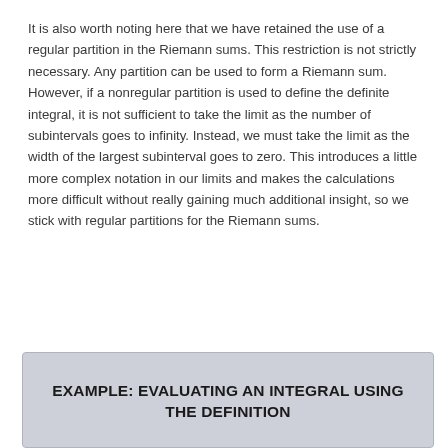It is also worth noting here that we have retained the use of a regular partition in the Riemann sums. This restriction is not strictly necessary. Any partition can be used to form a Riemann sum. However, if a nonregular partition is used to define the definite integral, it is not sufficient to take the limit as the number of subintervals goes to infinity. Instead, we must take the limit as the width of the largest subinterval goes to zero. This introduces a little more complex notation in our limits and makes the calculations more difficult without really gaining much additional insight, so we stick with regular partitions for the Riemann sums.
EXAMPLE: EVALUATING AN INTEGRAL USING THE DEFINITION